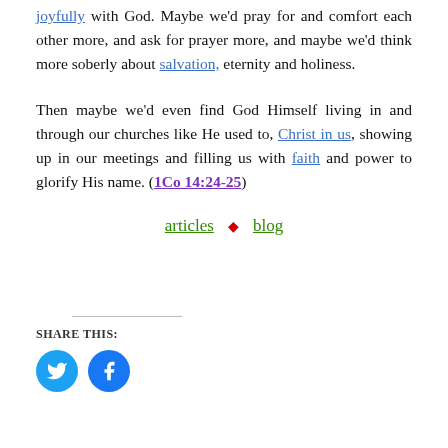joyfully with God. Maybe we'd pray for and comfort each other more, and ask for prayer more, and maybe we'd think more soberly about salvation, eternity and holiness.
Then maybe we'd even find God Himself living in and through our churches like He used to, Christ in us, showing up in our meetings and filling us with faith and power to glorify His name. (1Co 14:24-25)
articles ♦ blog
SHARE THIS: